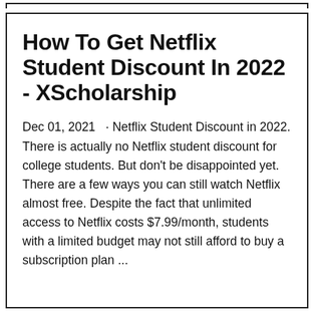How To Get Netflix Student Discount In 2022 - XScholarship
Dec 01, 2021  · Netflix Student Discount in 2022. There is actually no Netflix student discount for college students. But don't be disappointed yet. There are a few ways you can still watch Netflix almost free. Despite the fact that unlimited access to Netflix costs $7.99/month, students with a limited budget may not still afford to buy a subscription plan ...